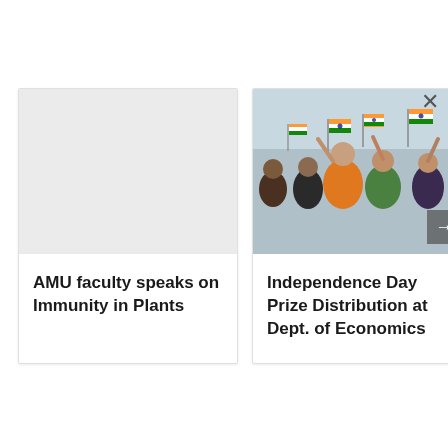[Figure (photo): Left news card with gray placeholder image area for AMU faculty story]
AMU faculty speaks on Immunity in Plants
[Figure (photo): Right news card showing people waving Indian flags at an Independence Day event at Dept. of Economics]
Independence Day Prize Distribution at Dept. of Economics